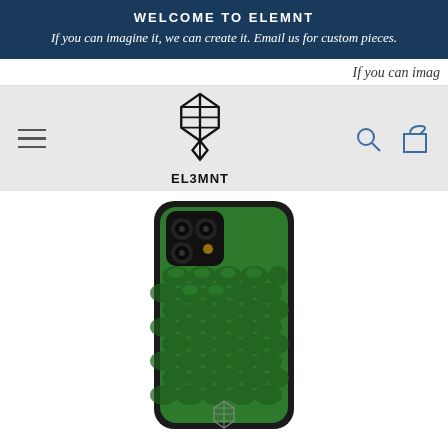WELCOME TO ELEMNT
If you can imagine it, we can create it. Email us for custom pieces.
If you can imag
[Figure (screenshot): ELEMNT brand navigation bar with hamburger menu on left, ELEMNT logo (geometric cube/feather icon with EL3MNT text) in center, search and shopping bag icons on right, on a light gray background]
[Figure (photo): iPhone case with green python/snake skin leather texture pattern and black bumper frame, showing rear camera module at top left. A small ELEMNT logo embossed near bottom center of the case.]